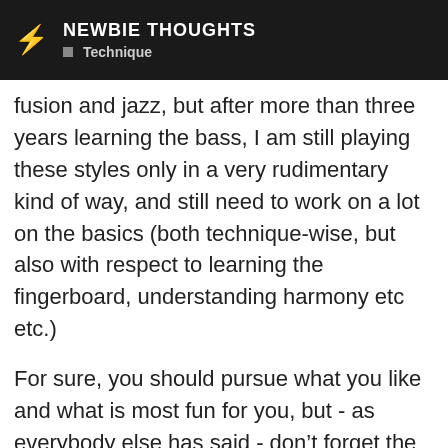NEWBIE THOUGHTS | Technique
fusion and jazz, but after more than three years learning the bass, I am still playing these styles only in a very rudimentary kind of way, and still need to work on a lot on the basics (both technique-wise, but also with respect to learning the fingerboard, understanding harmony etc etc.)
For sure, you should pursue what you like and what is most fun for you, but - as everybody else has said - don’t forget the basics, as you will be thankful for having put in the time later down the road. Even slap is not
12 / 37